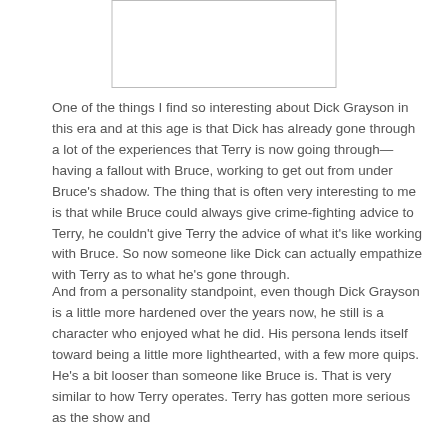[Figure (other): Blank white image box with border, partially visible at top of page]
One of the things I find so interesting about Dick Grayson in this era and at this age is that Dick has already gone through a lot of the experiences that Terry is now going through—having a fallout with Bruce, working to get out from under Bruce's shadow. The thing that is often very interesting to me is that while Bruce could always give crime-fighting advice to Terry, he couldn't give Terry the advice of what it's like working with Bruce. So now someone like Dick can actually empathize with Terry as to what he's gone through.
And from a personality standpoint, even though Dick Grayson is a little more hardened over the years now, he still is a character who enjoyed what he did. His persona lends itself toward being a little more lighthearted, with a few more quips. He's a bit looser than someone like Bruce is. That is very similar to how Terry operates. Terry has gotten more serious as the show and